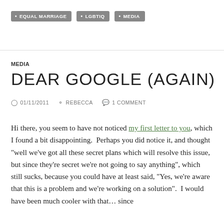EQUAL MARRIAGE  LGBTIQ  MEDIA
MEDIA
DEAR GOOGLE (AGAIN)
01/11/2011  REBECCA  1 COMMENT
Hi there, you seem to have not noticed my first letter to you, which I found a bit disappointing.  Perhaps you did notice it, and thought "well we've got all these secret plans which will resolve this issue, but since they're secret we're not going to say anything", which still sucks, because you could have at least said, "Yes, we're aware that this is a problem and we're working on a solution".  I would have been much cooler with that... since